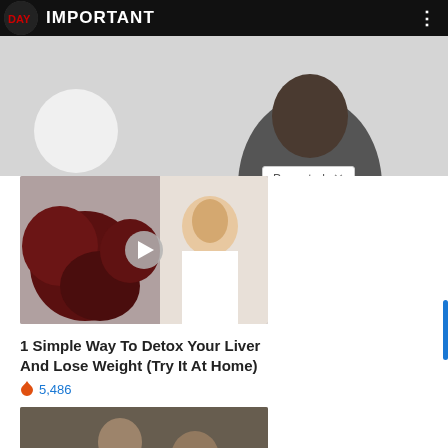IMPORTANT
[Figure (screenshot): Promoted content badge overlay on a photo showing partial head silhouette, with 'Promoted X' label]
[Figure (photo): Photo of dark red fruits/plums next to a smiling woman in a white lab coat, with a video play button overlay]
1 Simple Way To Detox Your Liver And Lose Weight (Try It At Home)
🔥 5,486
[Figure (photo): Photo of two men in a physical confrontation, one grabbing the other's throat]
How Elite Military Members End Fights Instantly
🔥 5,659